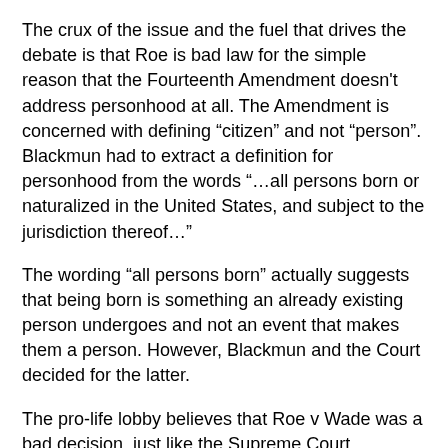The crux of the issue and the fuel that drives the debate is that Roe is bad law for the simple reason that the Fourteenth Amendment doesn't address personhood at all. The Amendment is concerned with defining “citizen” and not “person”. Blackmun had to extract a definition for personhood from the words “…all persons born or naturalized in the United States, and subject to the jurisdiction thereof…”
The wording “all persons born” actually suggests that being born is something an already existing person undergoes and not an event that makes them a person. However, Blackmun and the Court decided for the latter.
The pro-life lobby believes that Roe v Wade was a bad decision, just like the Supreme Court declaration that Dred Scott was Irene Emerson's personal property and not a free man was a bad decision.
There were those who wanted Scott and his abolitionist supporters to sit down and shut up too. They didn't. The